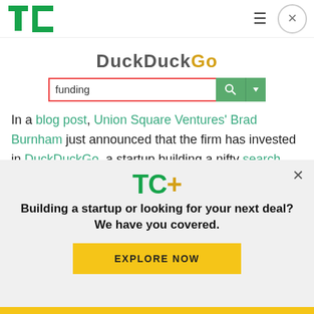TC [logo] | hamburger menu | close button
[Figure (screenshot): DuckDuckGo search bar with query 'funding' typed in, with green search button]
In a blog post, Union Square Ventures' Brad Burnham just announced that the firm has invested in DuckDuckGo, a startup building a nifty search engine with less clutter and more privacy.
[Figure (infographic): TC+ promotional overlay with TC+ logo, headline 'Building a startup or looking for your next deal? We have you covered.' and 'EXPLORE NOW' button]
Building a startup or looking for your next deal? We have you covered.